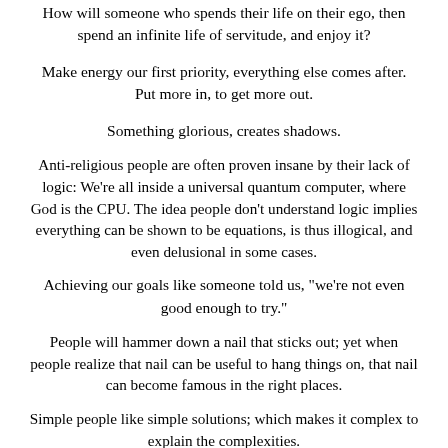How will someone who spends their life on their ego, then spend an infinite life of servitude, and enjoy it?
Make energy our first priority, everything else comes after. Put more in, to get more out.
Something glorious, creates shadows.
Anti-religious people are often proven insane by their lack of logic: We're all inside a universal quantum computer, where God is the CPU. The idea people don't understand logic implies everything can be shown to be equations, is thus illogical, and even delusional in some cases.
Achieving our goals like someone told us, "we're not even good enough to try."
People will hammer down a nail that sticks out; yet when people realize that nail can be useful to hang things on, that nail can become famous in the right places.
Simple people like simple solutions; which makes it complex to explain the complexities.
Meditation isn't quiet, until the mind is empty.
With the right support, we can heal.